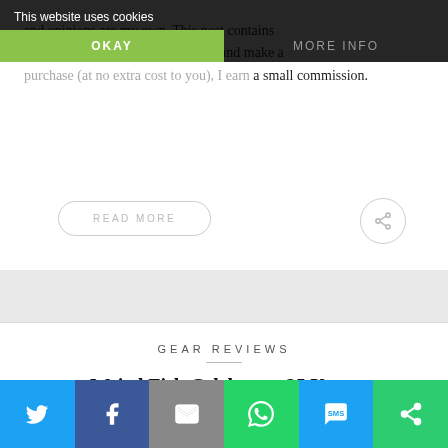This website uses cookies
and opinions are my own. This post contains affiliate links. If you click through and make a purchase (at no extra cost to you), I earn a small commission.
READ MORE
[Figure (other): Share icon circle button]
GEAR REVIEWS
Weird Fish Celebrates 25 Years
[Figure (infographic): Bottom social share bar with Twitter, Facebook, Email, WhatsApp, SMS, and other share buttons]